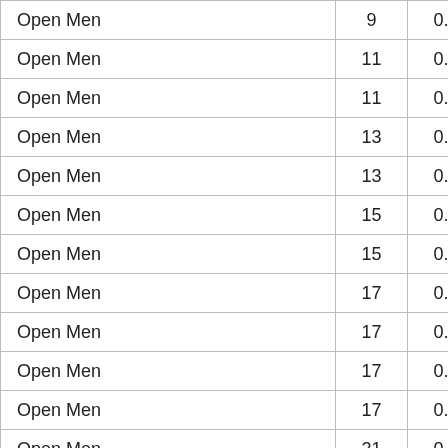| Division | Rank | Score | Athlete |
| --- | --- | --- | --- |
| Open Men | 9 | 0.00 | Ney, L... |
| Open Men | 11 | 0.00 | Rundhо... |
| Open Men | 11 | 0.00 | Wilking... |
| Open Men | 13 | 0.00 | Ben, Zi... |
| Open Men | 13 | 0.00 | de Tollis... |
| Open Men | 15 | 0.00 | Rios, D... |
| Open Men | 15 | 0.00 | Thiele, ... |
| Open Men | 17 | 0.00 | Bruland... |
| Open Men | 17 | 0.00 | Fuentes... |
| Open Men | 17 | 0.00 | Leonard... |
| Open Men | 17 | 0.00 | Nacher... |
| Open Men | 21 | 0.00 | Elizond... |
| Open Men | 21 | 0.00 | Karago... |
| Open Men | 21 | 0.00 | Perez P... |
| Open Men | 21 | 0.00 | Rojas, ... |
| Open Men | 25 | 0.00 | Arenas... |
| Open Men | 25 | 0.00 | Linao, A... |
| Open Men | 25 | 0.00 | Simon, ... |
| Open Men | 25 | 0.00 | Saltiti... |